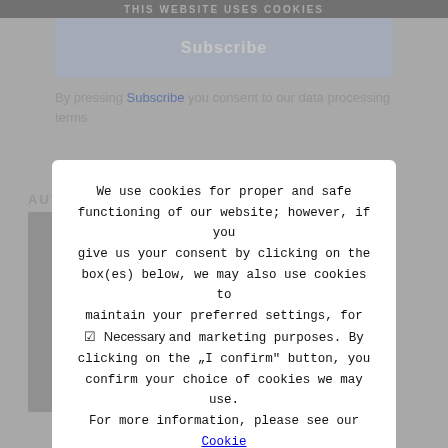This website uses cookies
Subscribe
By pressing Subscribe you consent to our data processing terms
AUTHOR
We use cookies for proper and safe functioning of our website; however, if you give us your consent by clicking on the box(es) below, we may also use cookies to maintain your preferred settings, for statistics and marketing purposes. By clicking on the „I confirm” button, you confirm your choice of cookies we may use. For more information, please see our Cookie policy
Necessary
Preferences
Statistics
Marketing
Show more
I confirm